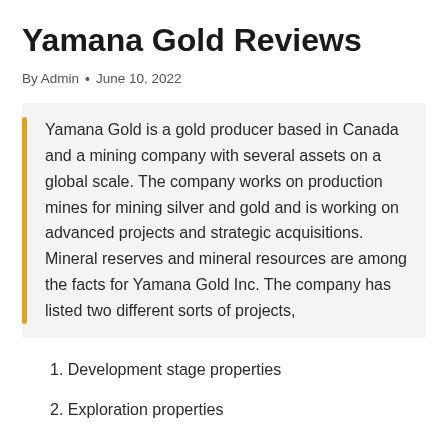Yamana Gold Reviews
By Admin • June 10, 2022
Yamana Gold is a gold producer based in Canada and a mining company with several assets on a global scale. The company works on production mines for mining silver and gold and is working on advanced projects and strategic acquisitions. Mineral reserves and mineral resources are among the facts for Yamana Gold Inc. The company has listed two different sorts of projects,
1. Development stage properties
2. Exploration properties